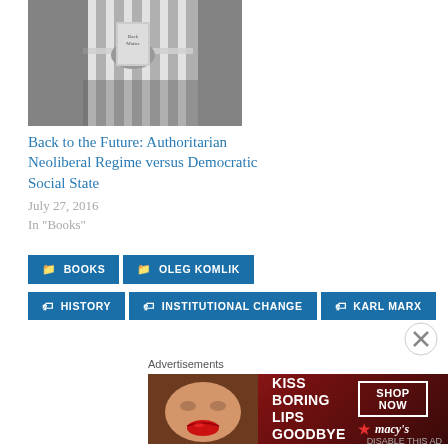[Figure (photo): Black and white photo of a person's hand holding a book through prison/jail bars]
Back to the Future: Authoritarian Neoliberal Regime versus Democratic Social State
July 27, 2016
In "Books"
BOOKS
OLEG KOMLIK
HISTORY
INSTITUTIONAL CHANGE
KARL MARX
Advertisements
[Figure (photo): Advertisement banner: KISS BORING LIPS GOODBYE - SHOP NOW - Macy's, showing a woman's face with red lipstick]